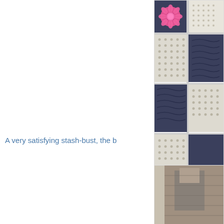[Figure (photo): Crochet granny square blanket with navy/dark blue and white/cream squares, one square featuring a pink flower motif in the center. Squares are arranged in a grid pattern visible in the upper right corner of the page.]
A very satisfying stash-bust, the b
[Figure (photo): Partial photo visible in lower right, appears to show a person or figure, cropped at the page edge.]